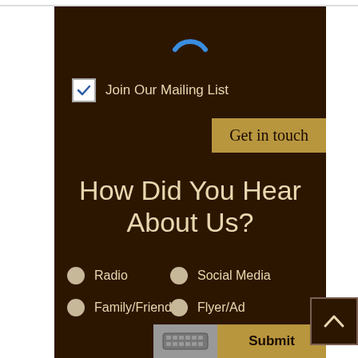[Figure (infographic): Blue spinning/loading arc indicator at top center of dark brown form area]
☑ Join Our Mailing List
Get in touch
How Did You Hear About Us?
○ Radio
○ Social Media
○ Family/Friend
○ Flyer/Ad
○ Past Client
○ Word of Mouth
Submit